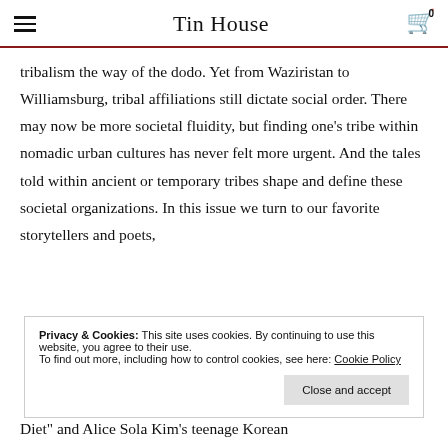Tin House
tribalism the way of the dodo. Yet from Waziristan to Williamsburg, tribal affiliations still dictate social order. There may now be more societal fluidity, but finding one’s tribe within nomadic urban cultures has never felt more urgent. And the tales told within ancient or temporary tribes shape and define these societal organizations. In this issue we turn to our favorite storytellers and poets,
Privacy & Cookies: This site uses cookies. By continuing to use this website, you agree to their use.
To find out more, including how to control cookies, see here: Cookie Policy
Diet” and Alice Sola Kim’s teenage Korean